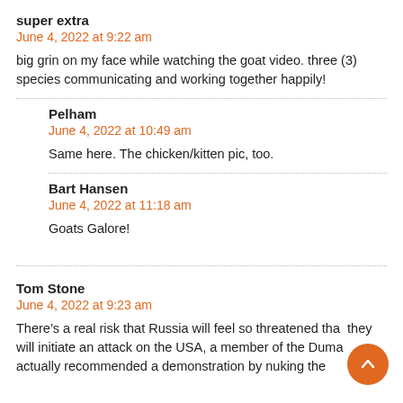super extra
June 4, 2022 at 9:22 am
big grin on my face while watching the goat video. three (3) species communicating and working together happily!
Pelham
June 4, 2022 at 10:49 am
Same here. The chicken/kitten pic, too.
Bart Hansen
June 4, 2022 at 11:18 am
Goats Galore!
Tom Stone
June 4, 2022 at 9:23 am
There’s a real risk that Russia will feel so threatened that they will initiate an attack on the USA, a member of the Duma actually recommended a demonstration by nuking the